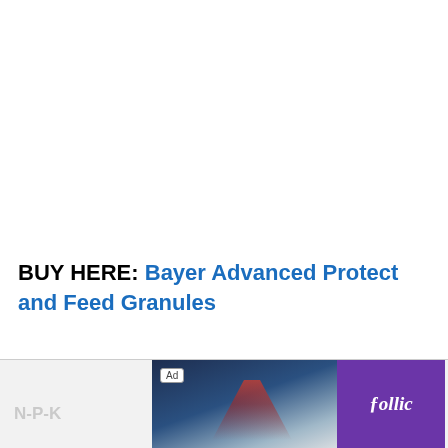BUY HERE: Bayer Advanced Protect and Feed Granules
Scotts All Purpose Flower and Vegetable Continuous Release Plant Food
[Figure (screenshot): Advertisement banner at the bottom of the page showing an ad image on the left with a road/landscape scene, a purple follic brand section in the middle, and 'They Are Coming!' text with a Download button on the right. An 'Ad' label appears in the top-left of the banner. N-P-K text appears on the left side.]